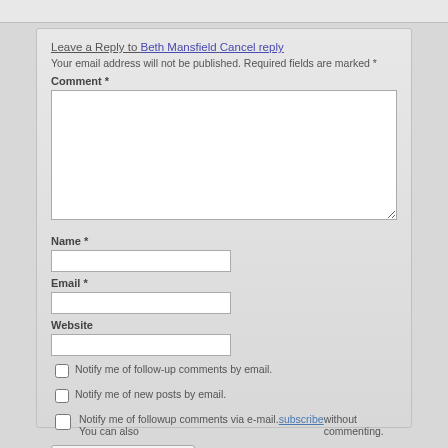Leave a Reply to Beth Mansfield Cancel reply
Your email address will not be published. Required fields are marked *
Comment *
Name *
Email *
Website
Notify me of follow-up comments by email.
Notify me of new posts by email.
Notify me of followup comments via e-mail. You can also subscribe without commenting.
Post Comment